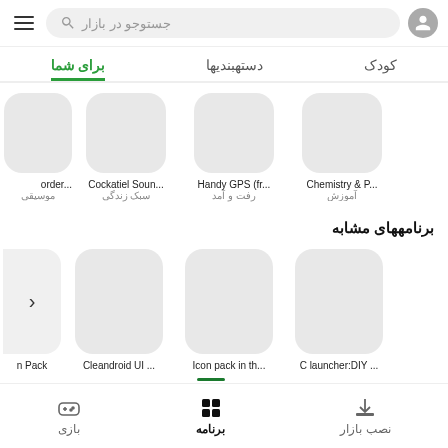جستوجو در بازار — top navigation bar with user icon, search bar, and menu
برای شما | دستهبندیها | کودک — tab navigation
[Figure (screenshot): Row of app icons: order.../موسیقی, Cockatiel Soun.../سبک زندگی, Handy GPS (fr.../رفت و آمد, Chemistry & P.../آموزش]
برنامههای مشابه
[Figure (screenshot): Row of similar app icons: n Pack (partial with back arrow), Cleandroid UI ..., Icon pack in th..., C launcher:DIY ...]
نصب بازار | برنامه | بازی — bottom navigation bar